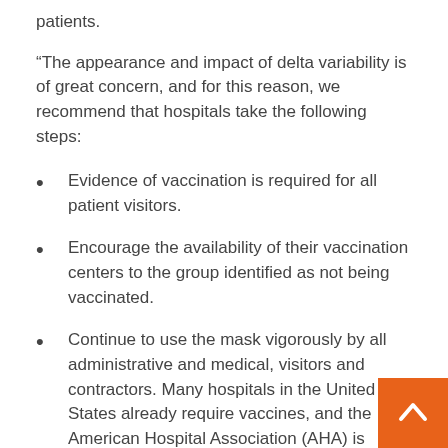patients.
“The appearance and impact of delta variability is of great concern, and for this reason, we recommend that hospitals take the following steps:
Evidence of vaccination is required for all patient visitors.
Encourage the availability of their vaccination centers to the group identified as not being vaccinated.
Continue to use the mask vigorously by all administrative and medical, visitors and contractors. Many hospitals in the United States already require vaccines, and the American Hospital Association (AHA) is demanding that the vaccine be made mandatory.